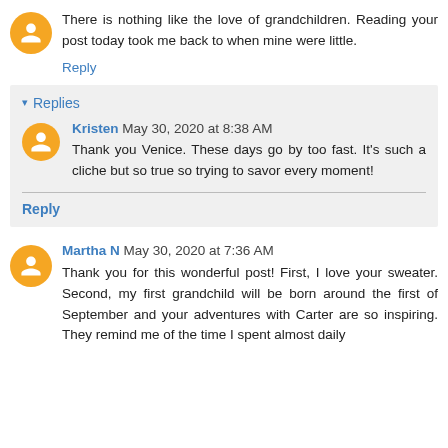There is nothing like the love of grandchildren. Reading your post today took me back to when mine were little.
Reply
▾ Replies
Kristen May 30, 2020 at 8:38 AM
Thank you Venice. These days go by too fast. It's such a cliche but so true so trying to savor every moment!
Reply
Martha N May 30, 2020 at 7:36 AM
Thank you for this wonderful post! First, I love your sweater. Second, my first grandchild will be born around the first of September and your adventures with Carter are so inspiring. They remind me of the time I spent almost daily